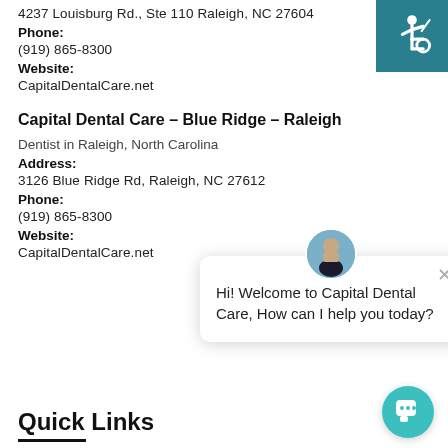4237 Louisburg Rd., Ste 110 Raleigh, NC 27604
Phone:
(919) 865-8300
Website:
CapitalDentalCare.net
[Figure (infographic): Wheelchair accessibility icon — white figure in wheelchair on teal background]
Capital Dental Care – Blue Ridge – Raleigh
Dentist in Raleigh, North Carolina
Address:
3126 Blue Ridge Rd, Raleigh, NC 27612
Phone:
(919) 865-8300
Website:
CapitalDentalCare.net
[Figure (screenshot): Chat popup with avatar photo of woman, close button, and message: Hi! Welcome to Capital Dental Care, How can I help you today?]
Quick Links